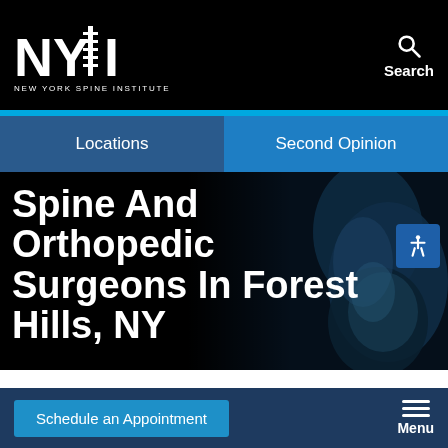[Figure (logo): New York Spine Institute (NYSI) logo with text and Search icon in black header]
Locations | Second Opinion
Spine And Orthopedic Surgeons In Forest Hills, NY
[Figure (illustration): Dark blue/black artistic illustration of human spine anatomy in the background]
Schedule an Appointment
Menu